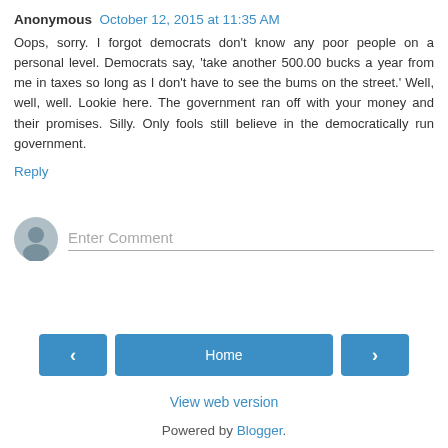Anonymous  October 12, 2015 at 11:35 AM
Oops, sorry. I forgot democrats don't know any poor people on a personal level. Democrats say, 'take another 500.00 bucks a year from me in taxes so long as I don't have to see the bums on the street.' Well, well, well. Lookie here. The government ran off with your money and their promises. Silly. Only fools still believe in the democratically run government.
Reply
[Figure (illustration): Grey avatar icon circle for comment input area]
Enter Comment
‹
Home
›
View web version
Powered by Blogger.